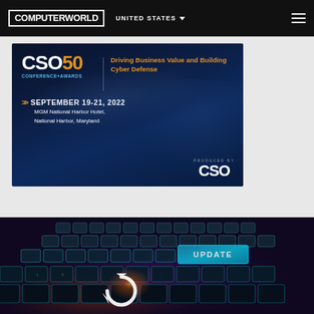COMPUTERWORLD | UNITED STATES
[Figure (illustration): CSO50 Conference+Awards advertisement banner on dark navy blue background. Text: 'Driving Business Value and Building Cyber Defense', SEPTEMBER 19-21, 2022, MGM National Harbor Hotel, National Harbor, Maryland. Produced by CSO.]
[Figure (photo): Close-up of a futuristic glowing keyboard with a large highlighted blue key that reads UPDATE, with a circular refresh/sync icon arrow symbol in white.]